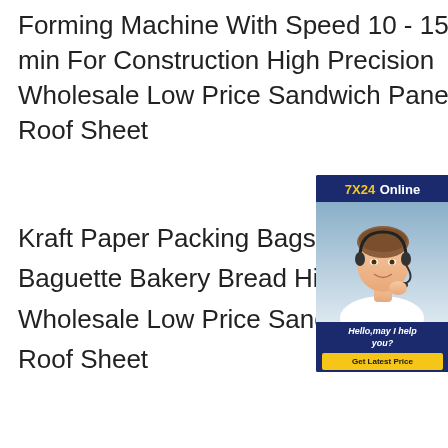Forming Machine With Speed 10 - 15m/min For Construction High Precision Wholesale Low Price Sandwich Panel Roof Sheet
Kraft Paper Packing Bags/French Baguette Bakery Bread High Pre Wholesale Low Price Sandwich Roof Sheet
[Figure (other): 7X24 Online customer service chat widget showing a female customer service representative wearing a headset, with header '7X24 Online', message 'Hello,may I help you?' and a 'Get Latest Price' button.]
Wholesale Price Low Cost Building and Roof Enclosures Sandwich P efficiency based on application requirements. Good Mechanical Resistance and Rigididy Fireproof Insulation Sheet Metal Roofing Used Sandwich Panel Cover Prices fouling by allowing solids to be more easily flushed